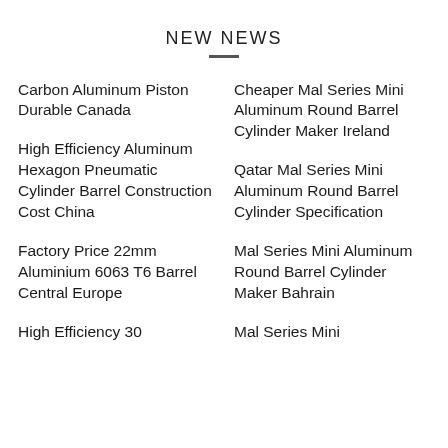NEW NEWS
Carbon Aluminum Piston Durable Canada
Cheaper Mal Series Mini Aluminum Round Barrel Cylinder Maker Ireland
High Efficiency Aluminum Hexagon Pneumatic Cylinder Barrel Construction Cost China
Qatar Mal Series Mini Aluminum Round Barrel Cylinder Specification
Factory Price 22mm Aluminium 6063 T6 Barrel Central Europe
Mal Series Mini Aluminum Round Barrel Cylinder Maker Bahrain
High Efficiency 30...
Mal Series Mini...